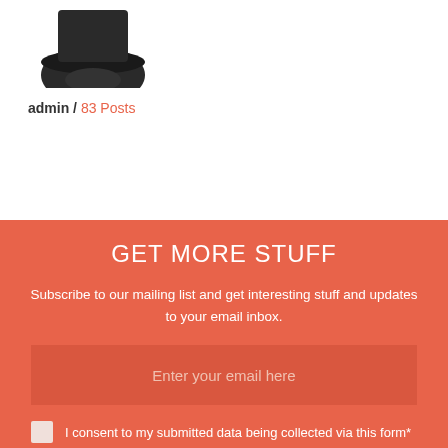[Figure (photo): Partial view of a person's head wearing a dark hat, cropped at the top of the page]
admin / 83 Posts
GET MORE STUFF
Subscribe to our mailing list and get interesting stuff and updates to your email inbox.
Enter your email here
I consent to my submitted data being collected via this form*